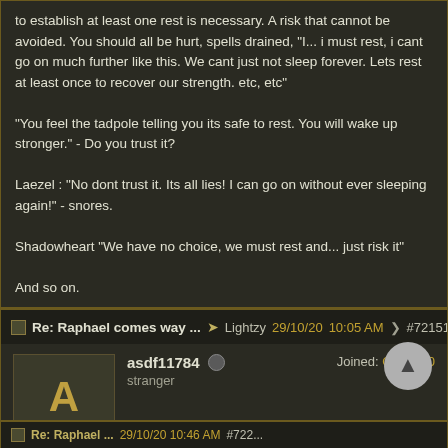to establish at least one rest is necessary. A risk that cannot be avoided. You should all be hurt, spells drained, "I... i must rest, i cant go on much further like this. We cant just not sleep forever. Lets rest at least once to recover our strength. etc, etc"

"You feel the tadpole telling you its safe to rest. You will wake up stronger." - Do you trust it?

Laezel : "No dont trust it. Its all lies! I can go on without ever sleeping again!" - snores.

Shadowheart "We have no choice, we must rest and... just risk it"

And so on.
Re: Raphael comes way ... Lightzy 29/10/20 10:05 AM #721511
asdf11784
stranger
Joined: Oct 2020
I think Raphael's appearance is tied to the quest in the ruins (ie. the event that happens after you fight the skeletons), but I'm not sure.